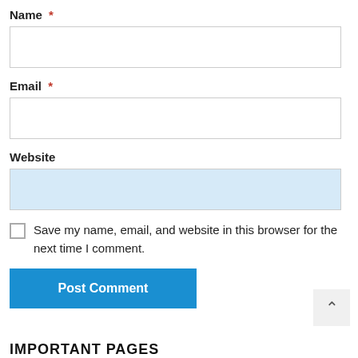Name *
Email *
Website
Save my name, email, and website in this browser for the next time I comment.
Post Comment
IMPORTANT PAGES